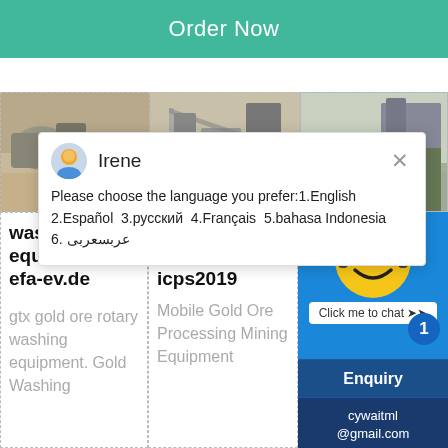Order Now
[Figure (photo): Industrial mining/crushing machine equipment photo]
[Figure (photo): Industrial processing plant with conveyor belt and equipment]
[Figure (photo): Industrial mining equipment at a rock face]
Irene
Please choose the language you prefer:1.English  2.Español  3.русский  4.Français  5.bahasa Indonesia   6. عربسعربى
washing equipment - efa-ev.de
gtx gold ore rotary washing equipment. Gold Washing
washing equipment - icps2019
Mobile Gold Ore Processing Mining Equipment
Enquiry
cywaitml@gmail.com